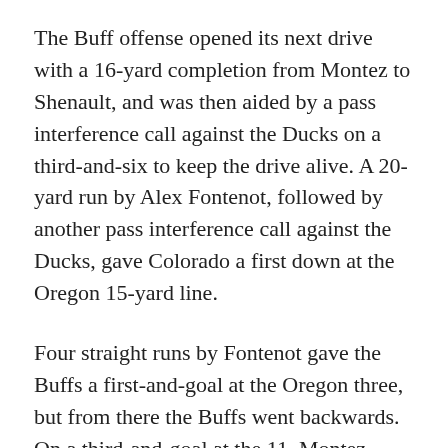The Buff offense opened its next drive with a 16-yard completion from Montez to Shenault, and was then aided by a pass interference call against the Ducks on a third-and-six to keep the drive alive. A 20-yard run by Alex Fontenot, followed by another pass interference call against the Ducks, gave Colorado a first down at the Oregon 15-yard line.
Four straight runs by Fontenot gave the Buffs a first-and-goal at the Oregon three, but from there the Buffs went backwards. On a third-and-goal at the 11, Montez retreated before firing a pass into the same corner in which Ahkello Witherspoon had intercepted a pass in the last minute in the 2016 game. The ball was batted around, with tight end Brady Russell having two chances for a touchdown catch. Instead, the ball was intercepted by Oregon defensive back Verone McKinley III. The Buffs' 12-play, 69-yard drive, taking 6:12 off of the...